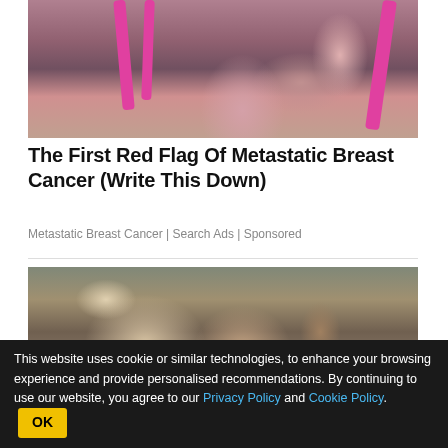[Figure (photo): Woman in grey and pink sports bra touching her chest]
The First Red Flag Of Metastatic Breast Cancer (Write This Down)
Metastatic Breast Cancer | Search Ads | Sponsored
[Figure (photo): Elderly couple sitting in a living room]
BitLife - Life Simulator
This website uses cookie or similar technologies, to enhance your browsing experience and provide personalised recommendations. By continuing to use our website, you agree to our Privacy Policy and Cookie Policy.  OK